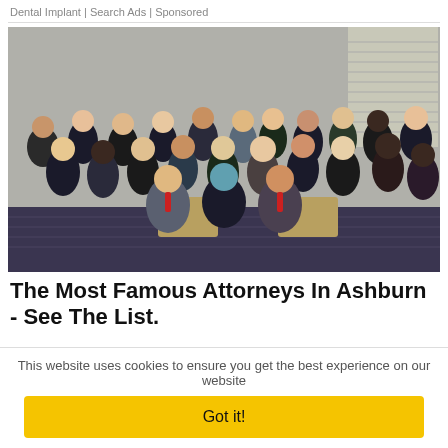Dental Implant | Search Ads | Sponsored
[Figure (photo): Group photo of approximately 25 attorneys in professional business attire, posed in rows with some seated on chairs/sofa in the front row, in an indoor setting.]
The Most Famous Attorneys In Ashburn - See The List.
This website uses cookies to ensure you get the best experience on our website
Got it!